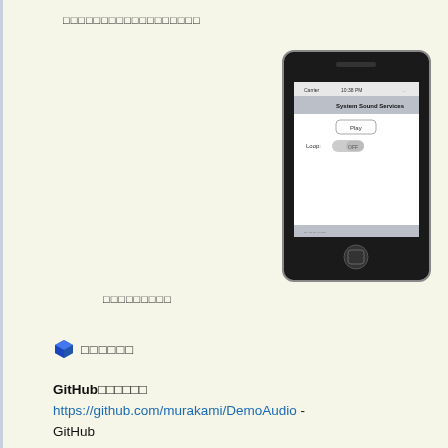□□□□□□□□□□□□□□□□□□
[Figure (screenshot): iPhone device screenshot showing 'System Sound Services' app with Play button and Loop toggle switch set to OFF]
□□□□□□□□□
🔷 □□□□□□
GitHub□□□□□□
https://github.com/murakami/DemoAudio - GitHub